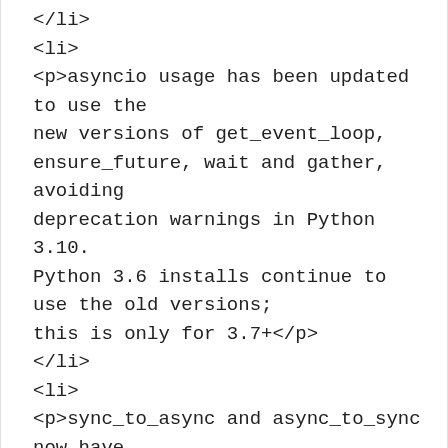</li>
<li>
<p>asyncio usage has been updated to use the new versions of get_event_loop, ensure_future, wait and gather, avoiding deprecation warnings in Python 3.10. Python 3.6 installs continue to use the old versions; this is only for 3.7+</p>
</li>
<li>
<p>sync_to_async and async_to_sync now have improved type hints that pass through the underlying function type correctly.</p>
</li>
<li>
<p>All Websocket* types are now spelled WebSocket, to match our specs and the official spelling. The old names will work until release 3.5.0, but will